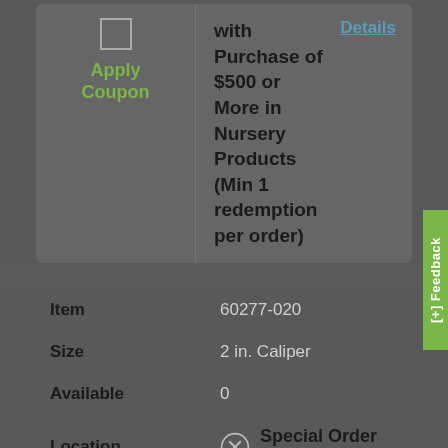Apply Coupon
with Purchase of $500 or More in Nursery Products (Min 1 redemption per order)
Details
| Field | Value |
| --- | --- |
| Item | 60277-020 |
| Size | 2 in. Caliper |
| Available | 0 |
| Location | Special Order Only. |
[+] Feedback
This item is not stocked nearby. If you need this